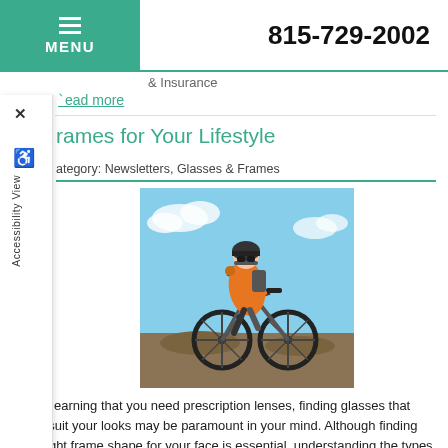MENU  815-729-2002
& Insurance
read more
rames for Your Lifestyle
Category: Newsletters, Glasses & Frames
[Figure (photo): Cyclist in orange jacket riding a mountain bike, wearing a helmet, approaching the camera on a trail with blue sky background]
After learning that you need prescription lenses, finding glasses that best suit your looks may be paramount in your mind. Although finding the right frame shape for your face is essential, understanding the types of frames that best fit your lifestyle is equally important. With the largest eyewear manufacturer